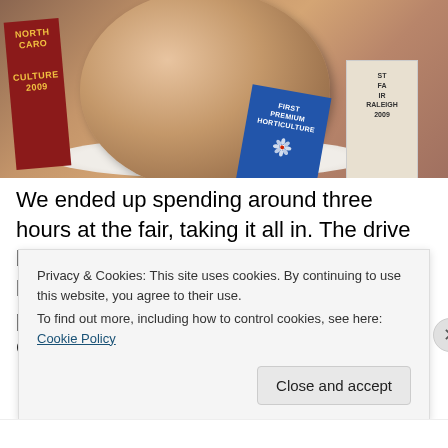[Figure (photo): A large round vegetable (onion or turnip) with a blue first-place ribbon reading 'FIRST PREMIUM HORTICULTURE' and a red North Carolina ribbon on the left, displayed on a white plate at a state fair.]
We ended up spending around three hours at the fair, taking it all in. The drive back to Chapel Hill was refreshing. We had experienced the fantastic people, place and culture that make North Carolina such a unique
Privacy & Cookies: This site uses cookies. By continuing to use this website, you agree to their use.
To find out more, including how to control cookies, see here: Cookie Policy